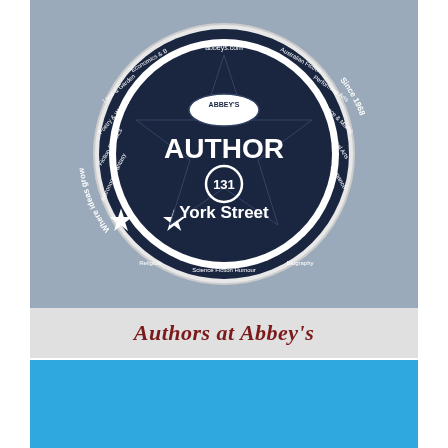[Figure (photo): A circular medallion/plaque for Abbey's bookstore at 131 York Street, featuring a dark navy star in the center with the text 'ABBEY'S', 'AUTHOR', '131', and 'York Street'. The outer ring lists book categories and reads 'Where ideas grow' and 'Since 1968'. Background is grey textured concrete.]
Authors at Abbey's
[Figure (other): Solid light blue rectangle, partially visible, bottom portion of the page.]